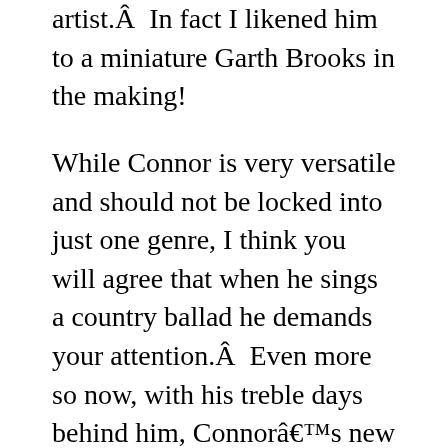artist.Â  In fact I likened him to a miniature Garth Brooks in the making!
While Connor is very versatile and should not be locked into just one genre, I think you will agree that when he sings a country ballad he demands your attention.Â  Even more so now, with his treble days behind him, Connorâ€™s new mature, full sounding vocals, draw you in delivering even greater meaning to the songs he performs.
Iâ€™m very happy to debut his latest single cover here for your enjoyment!Â  If you have been keeping up with Connor on this site, youâ€™re going to be amazed at his brand new